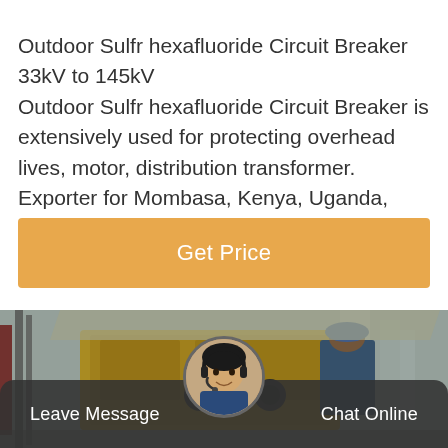Outdoor Sulfr hexafluoride Circuit Breaker 33kV to 145kV Outdoor Sulfr hexafluoride Circuit Breaker is extensively used for protecting overhead lives, motor, distribution transformer. Exporter for Mombasa, Kenya, Uganda, Tanzania, Zambia, Zimbabwe, Botswana, South Africa, Namibia
Get Price
[Figure (photo): Industrial worker in blue coveralls and hard hat working on yellow electrical equipment, possibly a circuit breaker or switchgear unit, at an outdoor industrial facility with pipes and equipment visible in the background.]
Leave Message    Chat Online